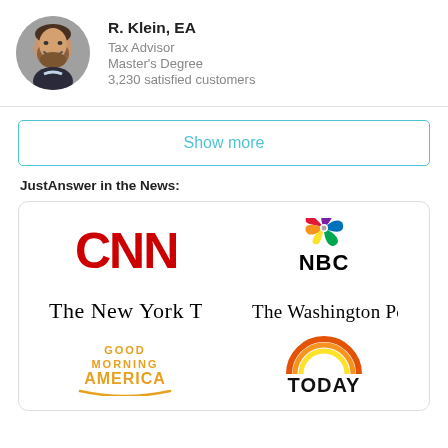[Figure (photo): Circular headshot photo of R. Klein, EA — a smiling middle-aged man with a beard, wearing a dark jacket]
R. Klein, EA
Tax Advisor
Master's Degree
3,230 satisfied customers
Show more
JustAnswer in the News:
[Figure (logo): CNN logo in red bold letters]
[Figure (logo): NBC logo with peacock feather icon above bold NBC text]
[Figure (logo): The New York Times logo in black serif typeface]
[Figure (logo): The Washington Post logo in black serif typeface]
[Figure (logo): Good Morning America logo in orange/gold stacked text with underline swoosh]
[Figure (logo): TODAY logo with orange rainbow arc above bold black TODAY text]